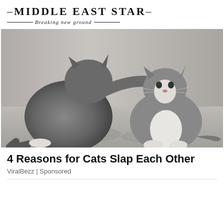—MIDDLE EAST STAR— Breaking new ground
[Figure (photo): Two grey cats, one reaching out with its paw to touch/slap the other cat on the head. Both cats are sitting on a grey floor against a neutral background.]
4 Reasons for Cats Slap Each Other
ViralBezz | Sponsored